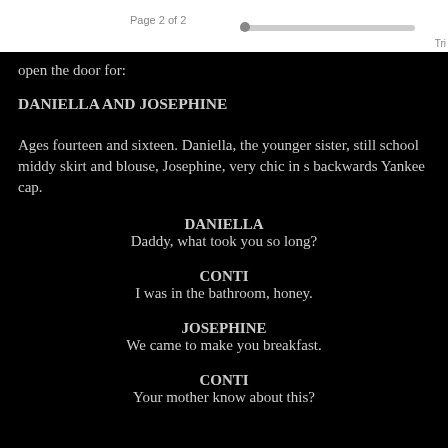Page 2 of 2
open the door for:
DANIELLA AND JOSEPHINE
Ages fourteen and sixteen. Daniella, the younger sister, still school middy skirt and blouse, Josephine, very chic in s backwards Yankee cap.
DANIELLA
Daddy, what took you so long?
CONTI
I was in the bathroom, honey.
JOSEPHINE
We came to make you breakfast.
CONTI
Your mother know about this?